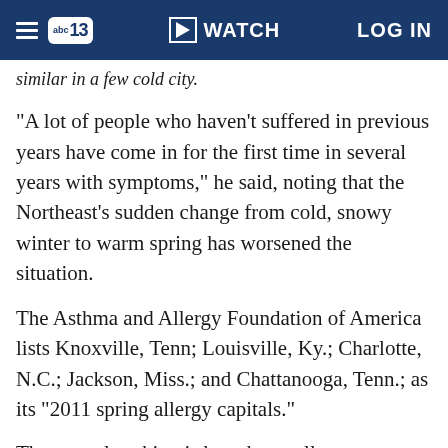abc13 | WATCH | LOG IN
similar in a few cold city.
"A lot of people who haven't suffered in previous years have come in for the first time in several years with symptoms," he said, noting that the Northeast's sudden change from cold, snowy winter to warm spring has worsened the situation.
The Asthma and Allergy Foundation of America lists Knoxville, Tenn; Louisville, Ky.; Charlotte, N.C.; Jackson, Miss.; and Chattanooga, Tenn.; as its "2011 spring allergy capitals."
The annual ranking is based on pollen scores measuring airborne grass, tree and weed pollen, and mold spores, along with the number of allergy medications used per patient and the number of allergy specialists per patient.